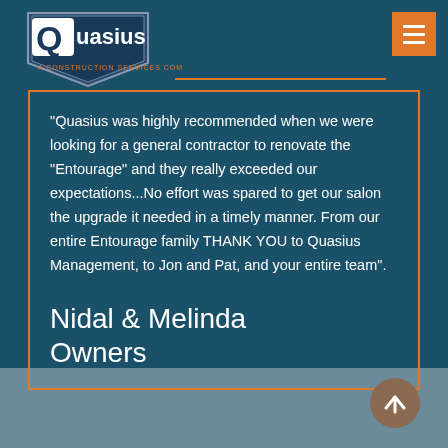[Figure (logo): Quasius - A Construction Services Company logo, shield-shaped with blue and grey colors, white Q and text]
"Quasius was highly recommended when we were looking for a general contractor to renovate the “Entourage” and they really exceeded our expectations...No effort was spared to get our salon the upgrade it needed in a timely manner. From our entire Entourage family THANK YOU to Quasius Management, to Jon and Pat, and your entire team".
Nidal & Melinda
Owners